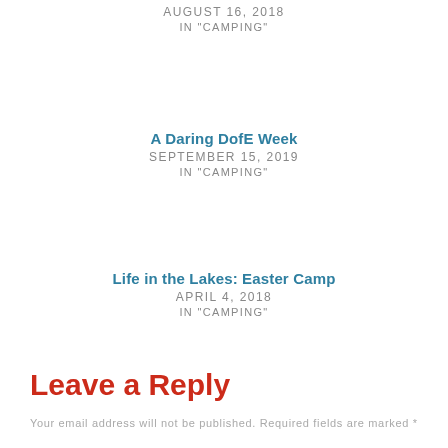AUGUST 16, 2018
IN "CAMPING"
A Daring DofE Week
SEPTEMBER 15, 2019
IN "CAMPING"
Life in the Lakes: Easter Camp
APRIL 4, 2018
IN "CAMPING"
Leave a Reply
Your email address will not be published. Required fields are marked *